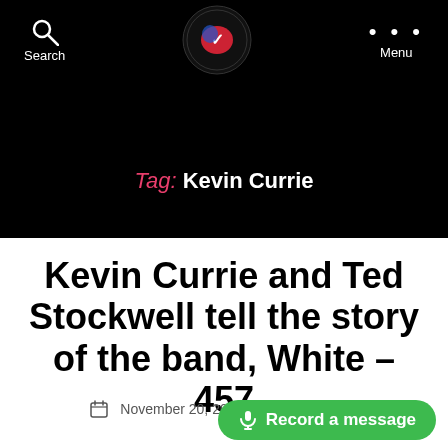Search  [Logo]  Menu
Tag: Kevin Currie
Kevin Currie and Ted Stockwell tell the story of the band, White – 457
November 20, 2020   1 Comment
🎤 Record a message